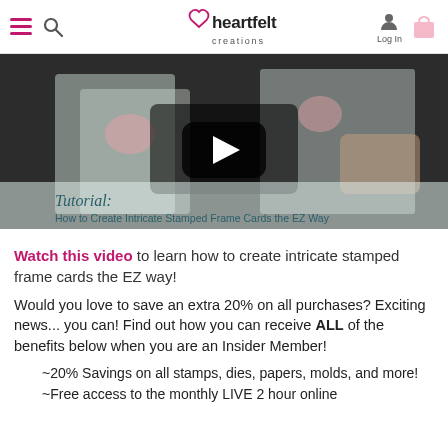Heartfelt Creations — navigation bar with logo, search, login, and bag icons
[Figure (screenshot): Video thumbnail showing hands holding decorative stamped frame cards with floral designs. Overlaid play button in center. Caption reads 'Tutorial: How to Create Intricate Stamped Frame Cards the EZ Way']
Watch this video to learn how to create intricate stamped frame cards the EZ way!
Would you love to save an extra 20% on all purchases? Exciting news... you can! Find out how you can receive ALL of the benefits below when you are an Insider Member!
~20% Savings on all stamps, dies, papers, molds, and more!
~Free access to the monthly LIVE 2 hour online